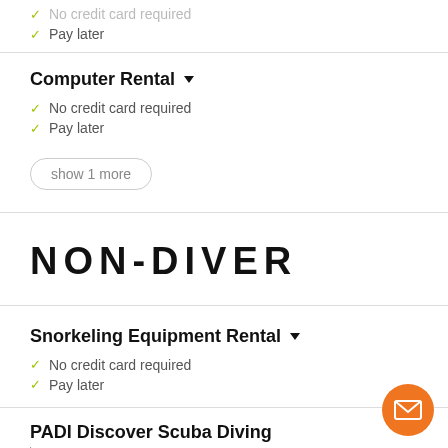No credit card required
Pay later
Computer Rental ▾
No credit card required
Pay later
show 1 more
NON-DIVER
Snorkeling Equipment Rental ▾
No credit card required
Pay later
PADI Discover Scuba Diving
▶ Duration: 1 days